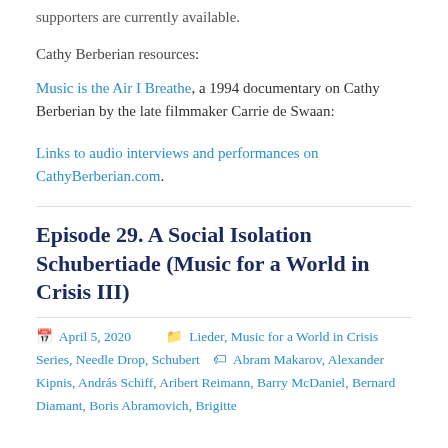supporters are currently available.
Cathy Berberian resources:
Music is the Air I Breathe, a 1994 documentary on Cathy Berberian by the late filmmaker Carrie de Swaan:
Links to audio interviews and performances on CathyBerberian.com.
Episode 29. A Social Isolation Schubertiade (Music for a World in Crisis III)
April 5, 2020   Lieder, Music for a World in Crisis Series, Needle Drop, Schubert   Abram Makarov, Alexander Kipnis, András Schiff, Aribert Reimann, Barry McDaniel, Bernard Diamant, Boris Abramovich, Brigitte